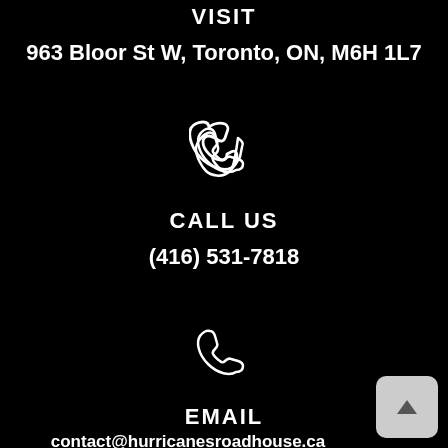VISIT
963 Bloor St W, Toronto, ON, M6H 1L7
[Figure (illustration): White outline phone/call icon]
CALL US
(416) 531-7818
[Figure (illustration): White outline phone/email icon]
EMAIL
contact@hurricanesroadhouse.ca